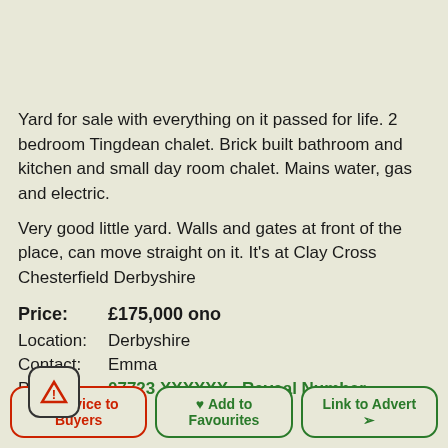Yard for sale with everything on it passed for life. 2 bedroom Tingdean chalet. Brick built bathroom and kitchen and small day room chalet. Mains water, gas and electric.
Very good little yard. Walls and gates at front of the place, can move straight on it. It's at Clay Cross Chesterfield Derbyshire
Price: £175,000 ono
Location: Derbyshire
Contact: Emma
Phone: 07723 XXXXXX    Reveal Number
[Figure (other): Three buttons at bottom: red-bordered 'Advice to Buyers' with warning icon, green-bordered 'Add to Favourites' with heart icon, green-bordered 'Link to Advert' with arrow icon.]